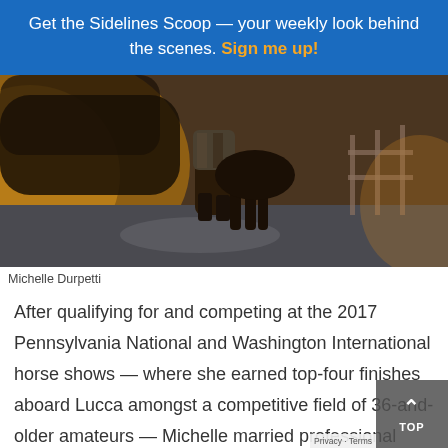Get the Sidelines Scoop — your weekly look behind the scenes. Sign me up!
[Figure (photo): Person walking a horse on a paved path, warm golden sunset light, trees and fence in background, person wearing plaid jacket and tall boots]
Michelle Durpetti
After qualifying for and competing at the 2017 Pennsylvania National and Washington International horse shows — where she earned top-four finishes aboard Lucca amongst a competitive field of 36-and-older amateurs — Michelle married professional wedding photographer Collin Pierson in a beautiful January 2018 ceremony with a grand